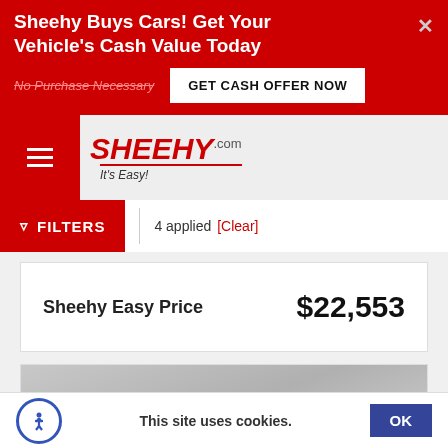Sheehy Buys Cars! Get Your Vehicle's Cash Value Today
No Purchase Necessary
GET CASH OFFER NOW
[Figure (logo): Sheehy.com It's Easy! logo with red text and italic tagline]
FILTERS | 4 applied [Clear]
Sheehy Easy Price   $22,553
[Figure (photo): Sheehy watermark on grey background, car image placeholder]
This site uses cookies.  OK